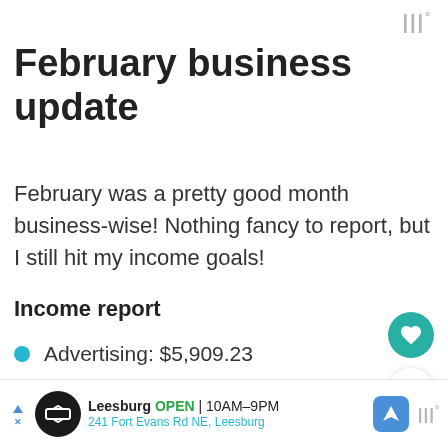|||°
February business update
February was a pretty good month business-wise! Nothing fancy to report, but I still hit my income goals!
Income report
Advertising: $5,909.23
Affiliate marketing: $4,250.09
Other: $1,1...
Leesburg OPEN 10AM–9PM 241 Fort Evans Rd NE, Leesburg